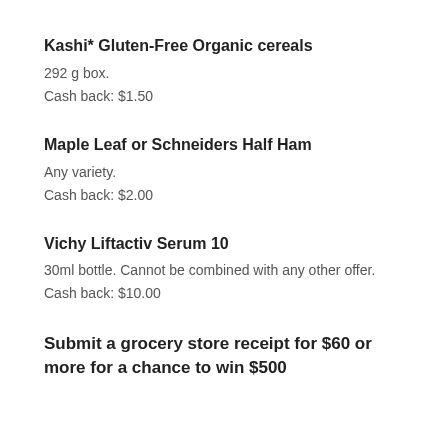Kashi* Gluten-Free Organic cereals
292 g box.
Cash back: $1.50
Maple Leaf or Schneiders Half Ham
Any variety.
Cash back: $2.00
Vichy Liftactiv Serum 10
30ml bottle. Cannot be combined with any other offer.
Cash back: $10.00
Submit a grocery store receipt for $60 or more for a chance to win $500